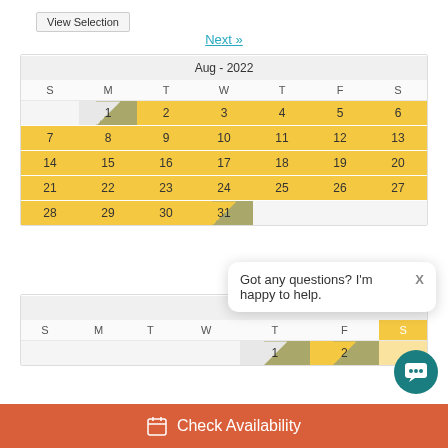[Figure (screenshot): View Selection button at top left]
Next »
[Figure (table-as-image): August 2022 calendar with availability. Yellow cells = available, olive/diagonal = partial, white = unavailable. Dates 1-31 shown with 21 in red.]
[Figure (screenshot): Chat bubble popup: 'Got any questions? I'm happy to help.' with X close button]
[Figure (screenshot): Partial September calendar header visible below]
[Figure (screenshot): Check Availability button at bottom with calendar icon and teal chat icon]
Got any questions? I'm happy to help.
Check Availability